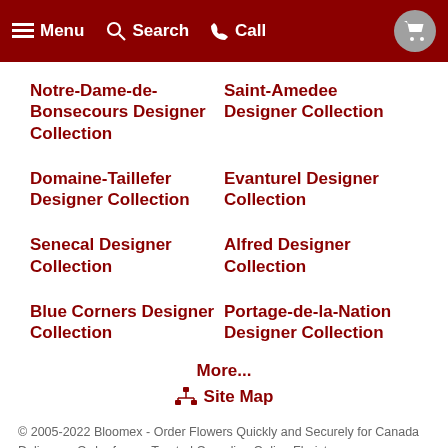Menu  Search  Call
Notre-Dame-de-Bonsecours Designer Collection
Saint-Amedee Designer Collection
Domaine-Taillefer Designer Collection
Evanturel Designer Collection
Senecal Designer Collection
Alfred Designer Collection
Blue Corners Designer Collection
Portage-de-la-Nation Designer Collection
More...
Site Map
© 2005-2022 Bloomex - Order Flowers Quickly and Securely for Canada Delivery :: Order from a Trusted Canadian Online Florist